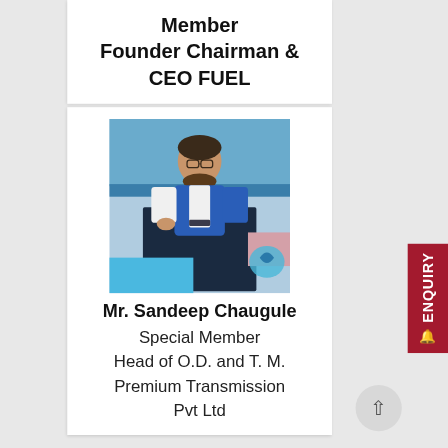Member
Founder Chairman & CEO FUEL
[Figure (photo): Photo of Mr. Sandeep Chaugule standing at a podium/lectern, wearing a blue and white polo shirt and glasses, speaking at an event.]
Mr. Sandeep Chaugule
Special Member
Head of O.D. and T. M.
Premium Transmission Pvt Ltd